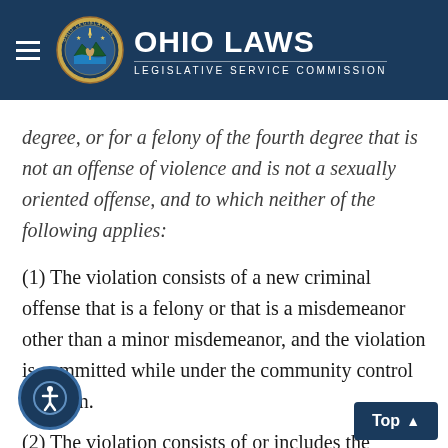Ohio Laws — Legislative Service Commission
degree, or for a felony of the fourth degree that is not an offense of violence and is not a sexually oriented offense, and to which neither of the following applies:
(1) The violation consists of a new criminal offense that is a felony or that is a misdemeanor other than a minor misdemeanor, and the violation is committed while under the community control sanction.
(2) The violation consists of or includes the